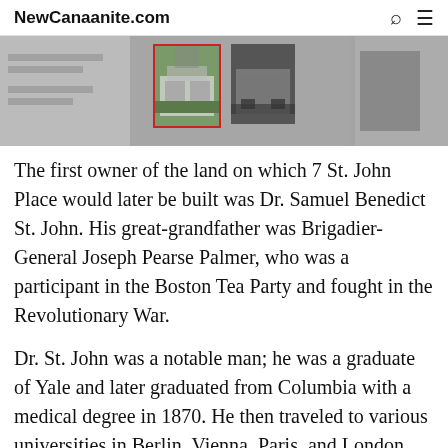NewCanaanite.com
[Figure (photo): Image strip showing two thumbnail photos of a house at 7 St. John Place, set against a grey background. The left thumbnail has a red border.]
The first owner of the land on which 7 St. John Place would later be built was Dr. Samuel Benedict St. John. His great-grandfather was Brigadier-General Joseph Pearse Palmer, who was a participant in the Boston Tea Party and fought in the Revolutionary War.
Dr. St. John was a notable man; he was a graduate of Yale and later graduated from Columbia with a medical degree in 1870. He then traveled to various universities in Berlin, Vienna, Paris, and London